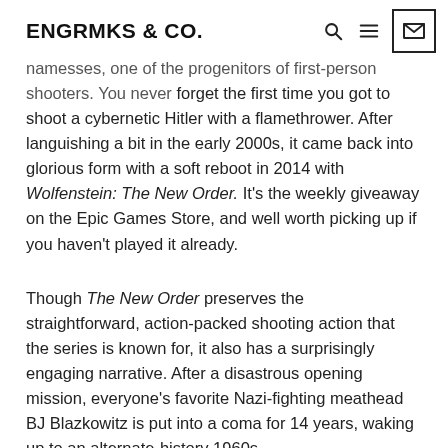ENGRMKS & CO.
namesses, one of the progenitors of first-person shooters. You never forget the first time you got to shoot a cybernetic Hitler with a flamethrower. After languishing a bit in the early 2000s, it came back into glorious form with a soft reboot in 2014 with Wolfenstein: The New Order. It's the weekly giveaway on the Epic Games Store, and well worth picking up if you haven't played it already.
Though The New Order preserves the straightforward, action-packed shooting action that the series is known for, it also has a surprisingly engaging narrative. After a disastrous opening mission, everyone's favorite Nazi-fighting meathead BJ Blazkowitz is put into a coma for 14 years, waking up to an alternate-history 1960s